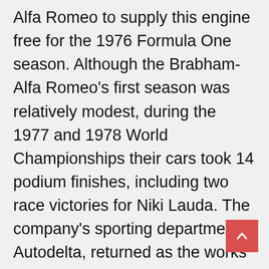Alfa Romeo to supply this engine free for the 1976 Formula One season. Although the Brabham-Alfa Romeo's first season was relatively modest, during the 1977 and 1978 World Championships their cars took 14 podium finishes, including two race victories for Niki Lauda. The company's sporting department, Autodelta, returned as the works team in 1979. This second period as a constructor was less successful than the first. Between the company's return and its withdrawal as a constructor at the end of 1985, Alfa works drivers did not win a race and the team never finished higher than sixth in the World Constructors' Championship. The team's engines were also supplied to Osella from 1983 to 1987, but they scored only two World Championship points during this period.